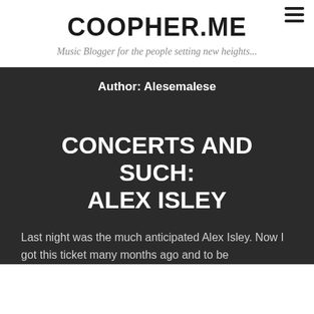COOPHER.ME
Music Blogger for the people setting new heights...
Author: Alesemalese
CONCERTS AND SUCH: ALEX ISLEY
Last night was the much anticipated Alex Isley. Now I got this ticket many months ago and to be